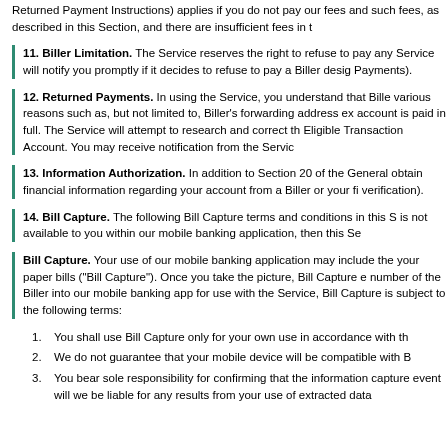Returned Payment Instructions) applies if you do not pay our fees and such fees, as described in this Section, and there are insufficient fees in t
11. Biller Limitation. The Service reserves the right to refuse to pay any Service will notify you promptly if it decides to refuse to pay a Biller desig Payments).
12. Returned Payments. In using the Service, you understand that Bille various reasons such as, but not limited to, Biller's forwarding address ex account is paid in full. The Service will attempt to research and correct th Eligible Transaction Account. You may receive notification from the Servic
13. Information Authorization. In addition to Section 20 of the General obtain financial information regarding your account from a Biller or your fi verification).
14. Bill Capture. The following Bill Capture terms and conditions in this S is not available to you within our mobile banking application, then this Se
Bill Capture. Your use of our mobile banking application may include the your paper bills ("Bill Capture"). Once you take the picture, Bill Capture e number of the Biller into our mobile banking app for use with the Service, Bill Capture is subject to the following terms:
1. You shall use Bill Capture only for your own use in accordance with th
2. We do not guarantee that your mobile device will be compatible with B
3. You bear sole responsibility for confirming that the information capture event will we be liable for any results from your use of extracted data